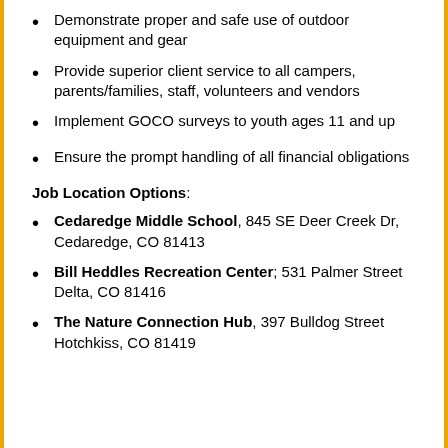Demonstrate proper and safe use of outdoor equipment and gear
Provide superior client service to all campers, parents/families, staff, volunteers and vendors
Implement GOCO surveys to youth ages 11 and up
Ensure the prompt handling of all financial obligations
Job Location Options:
Cedaredge Middle School, 845 SE Deer Creek Dr, Cedaredge, CO 81413
Bill Heddles Recreation Center; 531 Palmer Street Delta, CO 81416
The Nature Connection Hub, 397 Bulldog Street Hotchkiss, CO 81419